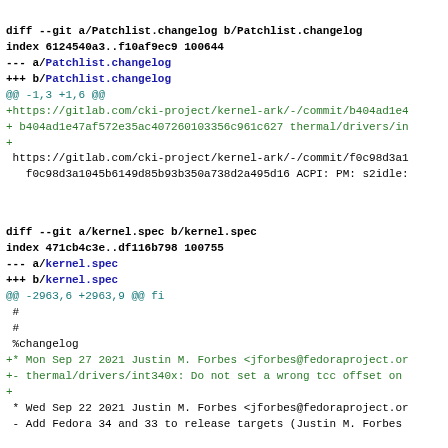diff --git a/Patchlist.changelog b/Patchlist.changelog
index 6124540a3..f10af9ec9 100644
--- a/Patchlist.changelog
+++ b/Patchlist.changelog
@@ -1,3 +1,6 @@
+https://gitlab.com/cki-project/kernel-ark/-/commit/b404ad1e4
+ b404ad1e47af572e35ac407260103356c961c627 thermal/drivers/in
+
 https://gitlab.com/cki-project/kernel-ark/-/commit/f0c98d3a1
   f0c98d3a1045b6149d85b93b350a738d2a495d16 ACPI: PM: s2idle:
diff --git a/kernel.spec b/kernel.spec
index 471cb4c3e..df116b798 100755
--- a/kernel.spec
+++ b/kernel.spec
@@ -2963,6 +2963,9 @@ fi
 #
 #
 %changelog
+* Mon Sep 27 2021 Justin M. Forbes <jforbes@fedoraproject.or
+- thermal/drivers/int340x: Do not set a wrong tcc offset on
+
 * Wed Sep 22 2021 Justin M. Forbes <jforbes@fedoraproject.or
 - Add Fedora 34 and 33 to release targets (Justin M. Forbes